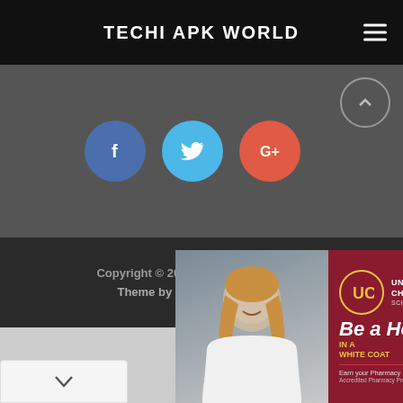TECHI APK WORLD
[Figure (infographic): Social share buttons: Facebook (blue circle with f), Twitter (light blue circle with bird icon), Google+ (red-orange circle with G+). Scroll-up arrow button top right.]
Copyright © 2022 TECHI APK WORLD Theme by MyThemeShop.com
[Figure (screenshot): Gray area with a dropdown/expand chevron box at bottom left]
[Figure (photo): University of Charleston School of Pharmacy advertisement: Be a Hero IN A WHITE COAT. Earn your Pharmacy Degree Here. Accredited Pharmacy Program on the campus of UCW. Shows a woman in white lab coat smiling.]